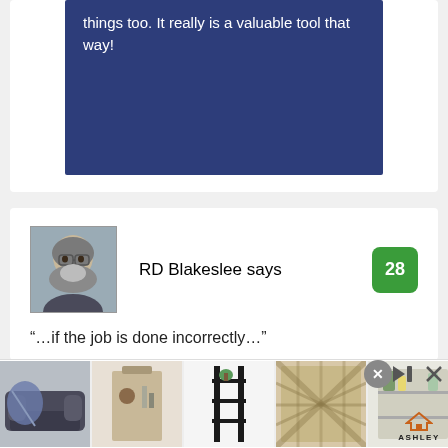things too. It really is a valuable tool that way!
RD Blakeslee says
28
“…if the job is done incorrectly…”
This phrase, independent of the DIY projects context, is a caveat applicable in all circumstances.
[Figure (photo): Advertisement banner with 5 furniture/home decor thumbnail images and Ashley Furniture logo]